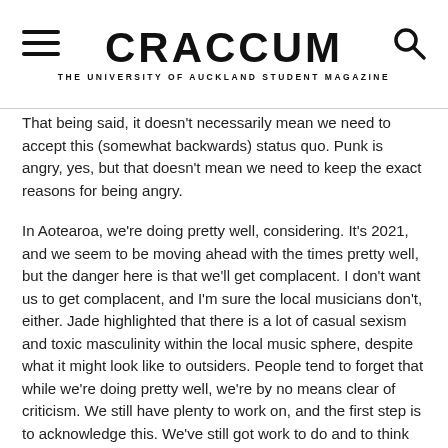CRACCUM — THE UNIVERSITY OF AUCKLAND STUDENT MAGAZINE
That being said, it doesn't necessarily mean we need to accept this (somewhat backwards) status quo. Punk is angry, yes, but that doesn't mean we need to keep the exact reasons for being angry.
In Aotearoa, we're doing pretty well, considering. It's 2021, and we seem to be moving ahead with the times pretty well, but the danger here is that we'll get complacent. I don't want us to get complacent, and I'm sure the local musicians don't, either. Jade highlighted that there is a lot of casual sexism and toxic masculinity within the local music sphere, despite what it might look like to outsiders. People tend to forget that while we're doing pretty well, we're by no means clear of criticism. We still have plenty to work on, and the first step is to acknowledge this. We've still got work to do and to think we didn't would be completely irresponsible.
Maybe one day we'll be able to rest easy in a dive bar, listening to a band we don't feel guilty for supporting, knowing our money's gone to a few people who will do good with it. That day isn't here yet, though. We're going to need to work to make